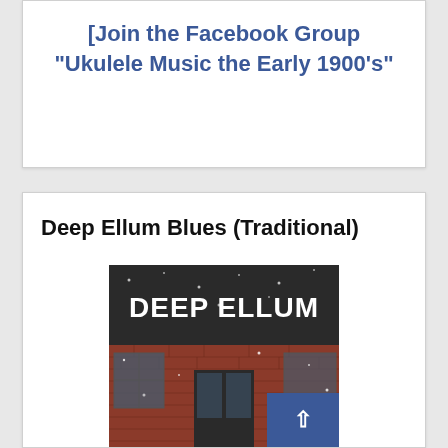[Join the Facebook Group “Ukulele Music the Early 1900’s”
Deep Ellum Blues (Traditional)
[Figure (photo): Photograph of the Deep Ellum building facade with a large sign reading 'DEEP ELLUM' in white block letters on a dark background, brick storefront below with snow falling, windows and entrance doors visible.]